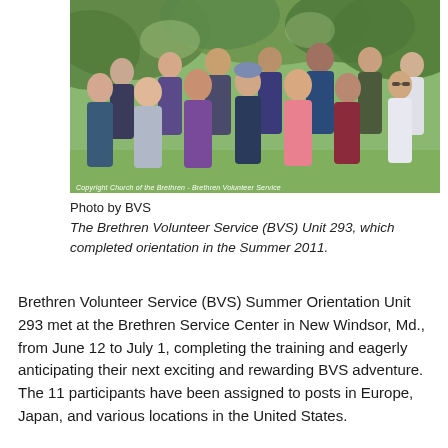[Figure (photo): Group photo of Brethren Volunteer Service (BVS) Unit 293 members standing outdoors under trees. About 11-12 young adults posing together. Copyright watermark: Copyright Church of the Brethren - Brethren Volunteer Service]
Photo by BVS
The Brethren Volunteer Service (BVS) Unit 293, which completed orientation in the Summer 2011.
Brethren Volunteer Service (BVS) Summer Orientation Unit 293 met at the Brethren Service Center in New Windsor, Md., from June 12 to July 1, completing the training and eagerly anticipating their next exciting and rewarding BVS adventure.  The 11 participants have been assigned to posts in Europe, Japan, and various locations in the United States.